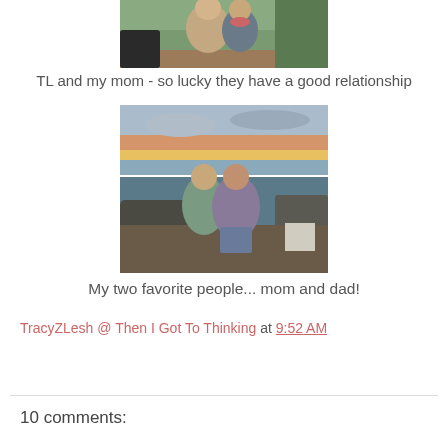[Figure (photo): Partial photo at top showing two people outdoors near evergreen trees, cropped at top]
TL and my mom - so lucky they have a good relationship
[Figure (photo): Couple standing together at a coastal location with ocean and sunset sky in background]
My two favorite people... mom and dad!
TracyZLesh @ Then I Got To Thinking at 9:52 AM
Share
10 comments: